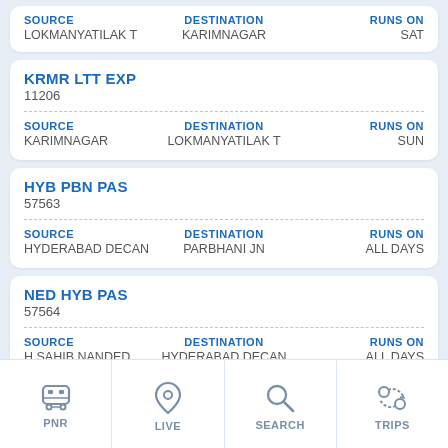| SOURCE | DESTINATION | RUNS ON |
| --- | --- | --- |
| LOKMANYATILAK T | KARIMNAGAR | SAT |
KRMR LTT EXP
11206
| SOURCE | DESTINATION | RUNS ON |
| --- | --- | --- |
| KARIMNAGAR | LOKMANYATILAK T | SUN |
HYB PBN PAS
57563
| SOURCE | DESTINATION | RUNS ON |
| --- | --- | --- |
| HYDERABAD DECAN | PARBHANI JN | ALL DAYS |
NED HYB PAS
57564
| SOURCE | DESTINATION | RUNS ON |
| --- | --- | --- |
| H SAHIB NANDED | HYDERABAD DECAN | ALL DAYS |
PUN HZB PAS
514...
PNR | LIVE | SEARCH | TRIPS